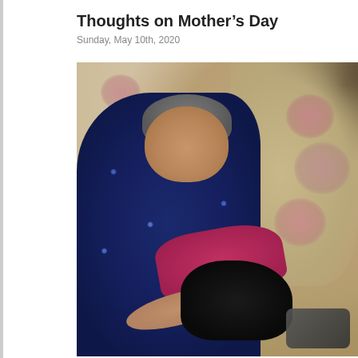Thoughts on Mother’s Day
Sunday, May 10th, 2020
[Figure (photo): An older woman with short grey hair sitting in a floral armchair, wearing a dark blue floral blouse and holding or petting a black cat in her lap. She has a magenta/red item draped over her lap. She is looking down. A TV remote is visible at the bottom right.]